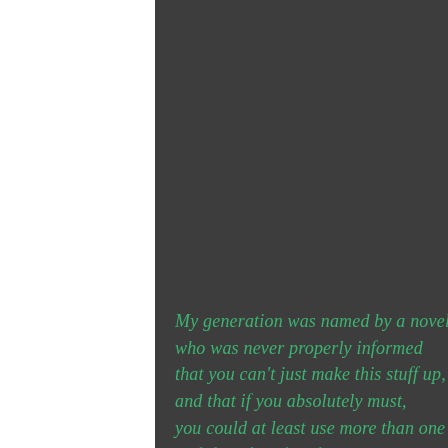[Figure (illustration): Page with three vertical sections: white left margin, dark gray center background, and black right strip with illustrated white cactus drawings at multiple positions.]
My generation was named by a novelist who was never properly informed that you can't just make this stuff up, and that if you absolutely must, you could at least use more than one letter,